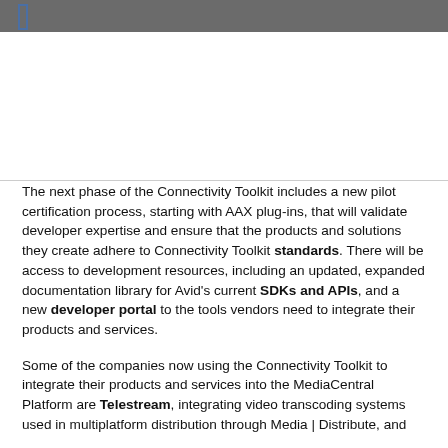[Figure (photo): Image area placeholder — upper portion of the page showing a visual element related to the Connectivity Toolkit content.]
The next phase of the Connectivity Toolkit includes a new pilot certification process, starting with AAX plug-ins, that will validate developer expertise and ensure that the products and solutions they create adhere to Connectivity Toolkit standards. There will be access to development resources, including an updated, expanded documentation library for Avid's current SDKs and APIs, and a new developer portal to the tools vendors need to integrate their products and services.
Some of the companies now using the Connectivity Toolkit to integrate their products and services into the MediaCentral Platform are Telestream, integrating video transcoding systems used in multiplatform distribution through Media | Distribute, and